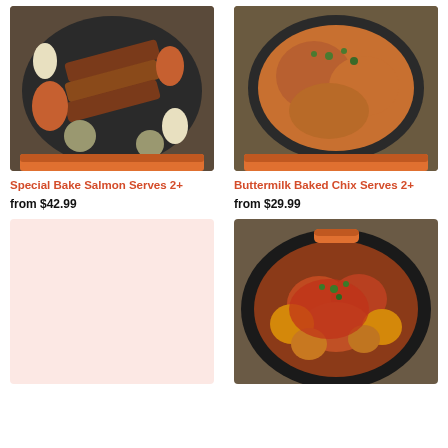[Figure (photo): Top-down photo of baked salmon with vegetables in a black pan with orange handles on a stovetop]
[Figure (photo): Top-down photo of buttermilk baked chicken in a black pan with orange handles on a stovetop]
Special Bake Salmon Serves 2+
from $42.99
Buttermilk Baked Chix Serves 2+
from $29.99
[Figure (photo): Empty pinkish-white placeholder area for a food item]
[Figure (photo): Top-down photo of braised chicken with potatoes and vegetables in a round black pan]